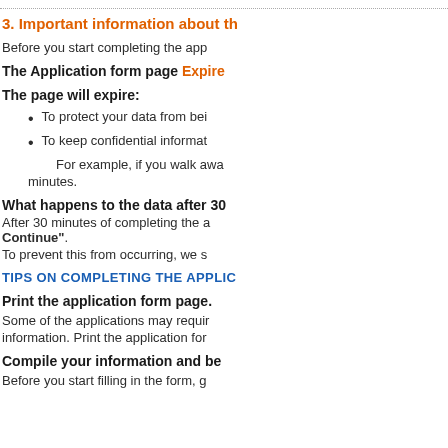3. Important information about th
Before you start completing the app
The Application form page Expires
The page will expire:
To protect your data from bei
To keep confidential informat
For example, if you walk awa
minutes.
What happens to the data after 30
After 30 minutes of completing the a Continue". To prevent this from occurring, we s
TIPS ON COMPLETING THE APPLIC
Print the application form page.
Some of the applications may requir information. Print the application for
Compile your information and be
Before you start filling in the form, g